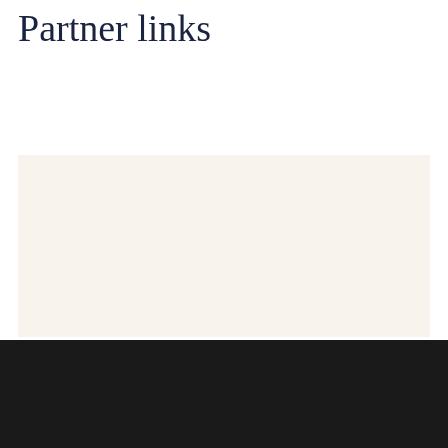Partner links
[Figure (other): Cream/beige colored rectangular content area for partner links]
[Figure (other): Dark footer area with a circular back-to-top button containing an upward chevron arrow]